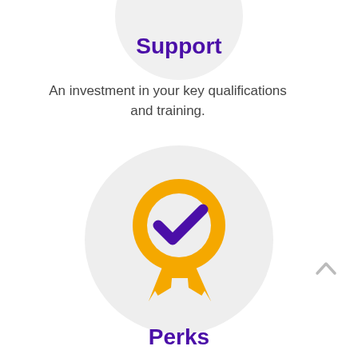Support
An investment in your key qualifications and training.
[Figure (illustration): A certification/award badge icon: an orange ring (medal) with a purple checkmark inside, and orange ribbon tails at the bottom, centered on a light grey circular background.]
Perks